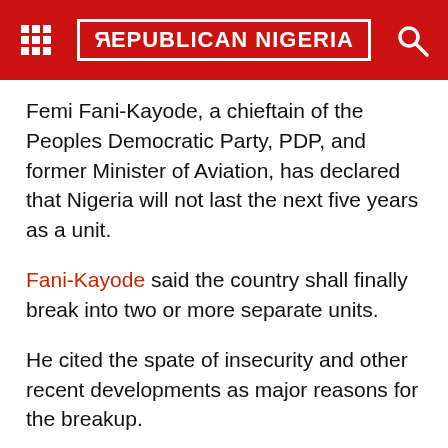Republican Nigeria
Femi Fani-Kayode, a chieftain of the Peoples Democratic Party, PDP, and former Minister of Aviation, has declared that Nigeria will not last the next five years as a unit.
Fani-Kayode said the country shall finally break into two or more separate units.
He cited the spate of insecurity and other recent developments as major reasons for the breakup.
The outspoken PDP member, who has always advocated for restructuring, said it was too late now to